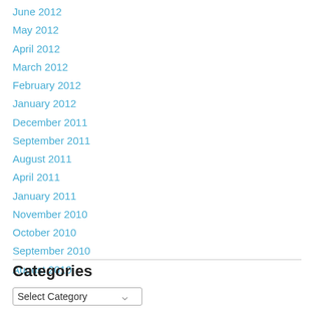June 2012
May 2012
April 2012
March 2012
February 2012
January 2012
December 2011
September 2011
August 2011
April 2011
January 2011
November 2010
October 2010
September 2010
August 2010
Categories
Select Category